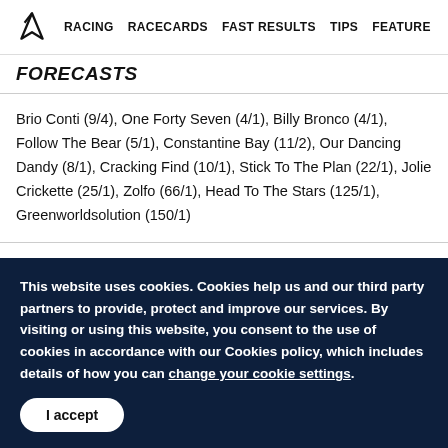RACING  RACECARDS  FAST RESULTS  TIPS  FEATURE
FORECASTS
Brio Conti (9/4), One Forty Seven (4/1), Billy Bronco (4/1), Follow The Bear (5/1), Constantine Bay (11/2), Our Dancing Dandy (8/1), Cracking Find (10/1), Stick To The Plan (22/1), Jolie Crickette (25/1), Zolfo (66/1), Head To The Stars (125/1), Greenworldsolution (150/1)
This website uses cookies. Cookies help us and our third party partners to provide, protect and improve our services. By visiting or using this website, you consent to the use of cookies in accordance with our Cookies policy, which includes details of how you can change your cookie settings.
I accept